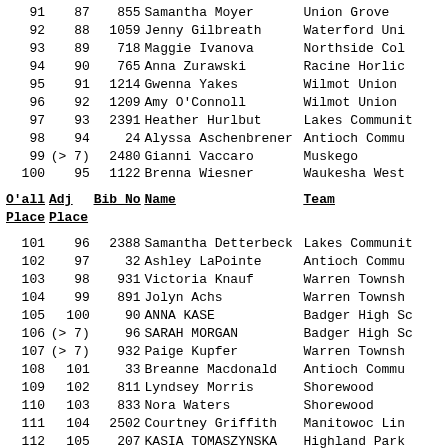| O'all Place | Adj Place | Bib No | Name | Team |
| --- | --- | --- | --- | --- |
| 91 | 87 | 855 | Samantha Moyer | Union Grove |
| 92 | 88 | 1059 | Jenny Gilbreath | Waterford Uni |
| 93 | 89 | 718 | Maggie Ivanova | Northside Col |
| 94 | 90 | 765 | Anna Zurawski | Racine Horlic |
| 95 | 91 | 1214 | Gwenna Yakes | Wilmot Union |
| 96 | 92 | 1209 | Amy O'Connoll | Wilmot Union |
| 97 | 93 | 2391 | Heather Hurlbut | Lakes Communit |
| 98 | 94 | 24 | Alyssa Aschenbrener | Antioch Commu |
| 99 | (> 7) | 2480 | Gianni Vaccaro | Muskego |
| 100 | 95 | 1122 | Brenna Wiesner | Waukesha West |
| 101 | 96 | 2388 | Samantha Detterbeck | Lakes Communit |
| 102 | 97 | 32 | Ashley LaPointe | Antioch Commu |
| 103 | 98 | 931 | Victoria Knauf | Warren Townsh |
| 104 | 99 | 891 | Jolyn Achs | Warren Townsh |
| 105 | 100 | 90 | ANNA KASE | Badger High Sc |
| 106 | (> 7) | 96 | SARAH MORGAN | Badger High Sc |
| 107 | (> 7) | 932 | Paige Kupfer | Warren Townsh |
| 108 | 101 | 33 | Breanne Macdonald | Antioch Commu |
| 109 | 102 | 811 | Lyndsey Morris | Shorewood |
| 110 | 103 | 833 | Nora Waters | Shorewood |
| 111 | 104 | 2502 | Courtney Griffith | Manitowoc Lin |
| 112 | 105 | 207 | KASIA TOMASZYNSKA | Highland Park |
| 113 | 106 | 1063 | Kayla Kinateder | Waterford Uni |
| 114 | 107 | 402 | Katie Suerth | Lake Zurich ( |
| 115 | 108 | 363 | Linnea Christ | Lake Zurich ( |
| 116 | 109 | 719 | Taylor Provax | Northside Col |